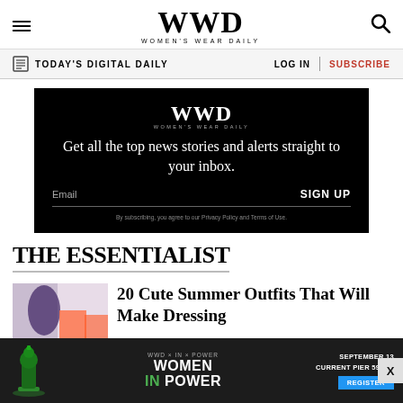WWD — Women's Wear Daily
TODAY'S DIGITAL DAILY   LOG IN   SUBSCRIBE
[Figure (infographic): WWD newsletter signup box with black background. WWD logo at top, headline: 'Get all the top news stories and alerts straight to your inbox.' Email input field with SIGN UP button. Fine print: 'By subscribing, you agree to our Privacy Policy and Terms of Use.']
THE ESSENTIALIST
20 Cute Summer Outfits That Will Make Dressing
[Figure (infographic): WWD x In x Power: Women in Power ad banner. Dark background with green chess piece. 'WOMEN IN POWER' text. September 13, Current Pier 59, NY. Register button.]